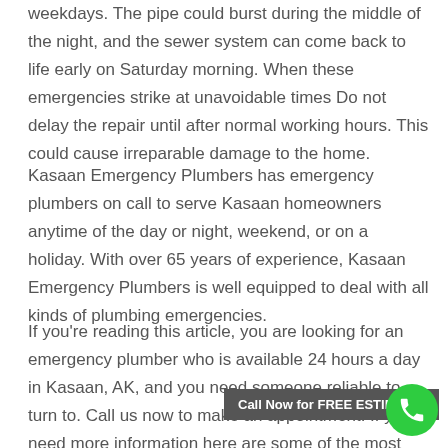weekdays. The pipe could burst during the middle of the night, and the sewer system can come back to life early on Saturday morning. When these emergencies strike at unavoidable times Do not delay the repair until after normal working hours. This could cause irreparable damage to the home.
Kasaan Emergency Plumbers has emergency plumbers on call to serve Kasaan homeowners anytime of the day or night, weekend, or on a holiday. With over 65 years of experience, Kasaan Emergency Plumbers is well equipped to deal with all kinds of plumbing emergencies.
If you're reading this article, you are looking for an emergency plumber who is available 24 hours a day in Kasaan, AK, and you need someone reliable to turn to. Call us now to make an appointment. If you need more information here are some of the most frequent reasons to call urgent assistance from a plum...
Call Now for FREE ESTIMATE!